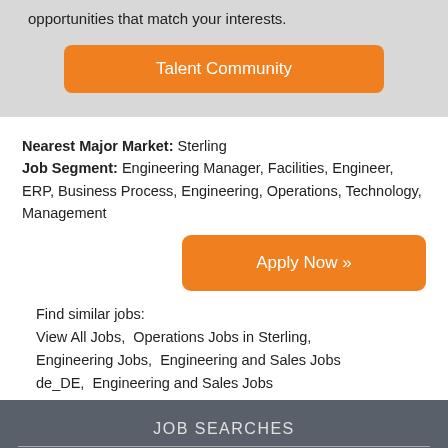opportunities that match your interests.
[Figure (other): Orange 'Talent Community' button on gray background]
Nearest Major Market: Sterling
Job Segment: Engineering Manager, Facilities, Engineer, ERP, Business Process, Engineering, Operations, Technology, Management
[Figure (other): Orange 'Apply Now »' button]
Find similar jobs:
View All Jobs,  Operations Jobs in Sterling,  Engineering Jobs,  Engineering and Sales Jobs de_DE,  Engineering and Sales Jobs
JOB SEARCHES